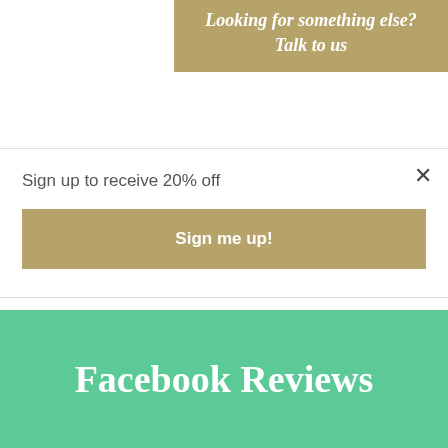[Figure (other): Golden/tan colored banner with italic bold white text reading 'Looking for something else? Talk to us']
Sign up to receive 20% off
[Figure (other): Gold colored button with white bold text 'Sign me up!']
Facebook Reviews